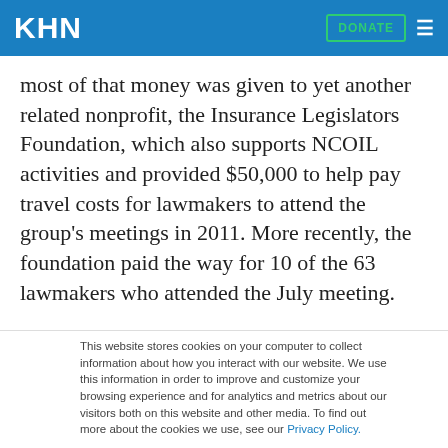KHN | DONATE
most of that money was given to yet another related nonprofit, the Insurance Legislators Foundation, which also supports NCOIL activities and provided $50,000 to help pay travel costs for lawmakers to attend the group's meetings in 2011. More recently, the foundation paid the way for 10 of the 63 lawmakers who attended the July meeting.
This website stores cookies on your computer to collect information about how you interact with our website. We use this information in order to improve and customize your browsing experience and for analytics and metrics about our visitors both on this website and other media. To find out more about the cookies we use, see our Privacy Policy.
Accept